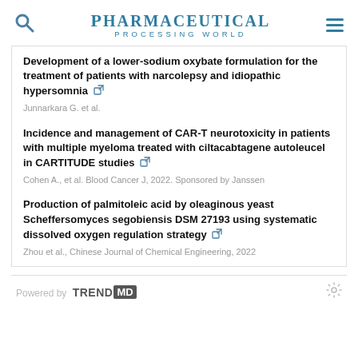Pharmaceutical Processing World
Development of a lower-sodium oxybate formulation for the treatment of patients with narcolepsy and idiopathic hypersomnia
Junnarkara G. et al.
Incidence and management of CAR-T neurotoxicity in patients with multiple myeloma treated with ciltacabtagene autoleucel in CARTITUDE studies
Cohen A., et al. Blood Cancer J, 2022. Sponsored by Janssen
Production of palmitoleic acid by oleaginous yeast Scheffersomyces segobiensis DSM 27193 using systematic dissolved oxygen regulation strategy
Zhou et al., Chinese Journal of Chemical Engineering, 2022
Powered by TRENDMD